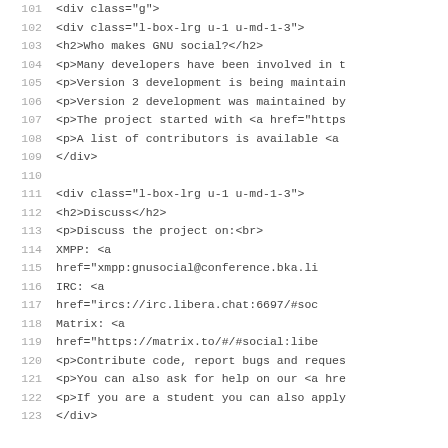101    <div class="g">
102        <div class="l-box-lrg u-1 u-md-1-3">
103          <h2>Who makes GNU social?</h2>
104          <p>Many developers have been involved in t
105          <p>Version 3 development is being maintain
106          <p>Version 2 development was maintained by
107          <p>The project started with <a href="https
108          <p>A list of contributors is available <a
109        </div>
110
111        <div class="l-box-lrg u-1 u-md-1-3">
112          <h2>Discuss</h2>
113          <p>Discuss the project on:<br>
114            XMPP: <a
115              href="xmpp:gnusocial@conference.bka.li
116            IRC: <a
117              href="ircs://irc.libera.chat:6697/#soc
118            Matrix: <a
119              href="https://matrix.to/#/#social:libe
120          <p>Contribute code, report bugs and reques
121          <p>You can also ask for help on our <a hre
122          <p>If you are a student you can also apply
123          </div>